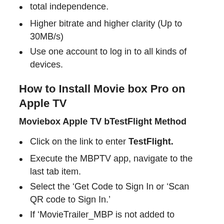total independence.
Higher bitrate and higher clarity (Up to 30MB/s)
Use one account to log in to all kinds of devices.
How to Install Movie box Pro on Apple TV
Moviebox Apple TV bTestFlight Method
Click on the link to enter TestFlight.
Execute the MBPTV app, navigate to the last tab item.
Select the ‘Get Code to Sign In or ‘Scan QR code to Sign In.’
If ‘MovieTrailer_MBP is not added to TestFlight, please exit TestFlight and Click on the link to try again.